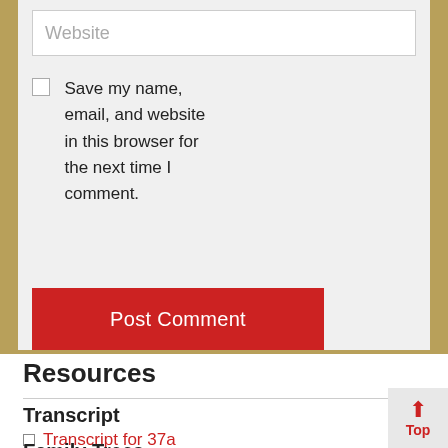Website
Save my name, email, and website in this browser for the next time I comment.
Post Comment
Resources
Transcript
Transcript for 37a
Family Trees